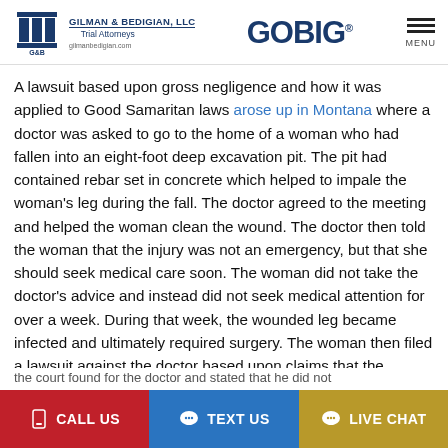GILMAN & BEDIGIAN, LLC Trial Attorneys | GOBIG | MENU
A lawsuit based upon gross negligence and how it was applied to Good Samaritan laws arose up in Montana where a doctor was asked to go to the home of a woman who had fallen into an eight-foot deep excavation pit. The pit had contained rebar set in concrete which helped to impale the woman's leg during the fall. The doctor agreed to the meeting and helped the woman clean the wound. The doctor then told the woman that the injury was not an emergency, but that she should seek medical care soon. The woman did not take the doctor's advice and instead did not seek medical attention for over a week. During that week, the wounded leg became infected and ultimately required surgery. The woman then filed a lawsuit against the doctor based upon claims that the
CALL US | TEXT US | LIVE CHAT